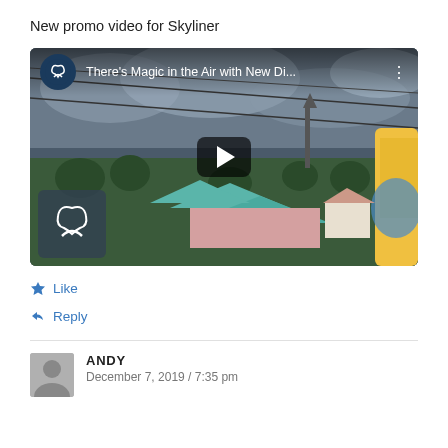New promo video for Skyliner
[Figure (screenshot): YouTube video thumbnail showing aerial view of Disney resort with gondola cable cars. Video title: 'There's Magic in the Air with New Di...' with Disney logo and play button overlay.]
Like
Reply
ANDY
December 7, 2019 / 7:35 pm